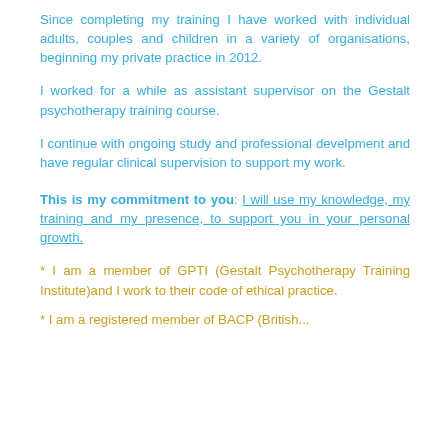Since completing my training I have worked with individual adults, couples and children in a variety of organisations, beginning my private practice in 2012.
I worked for a while as assistant supervisor on the Gestalt psychotherapy training course.
I continue with ongoing study and professional develpment and have regular clinical supervision to support my work.
This is my commitment to you: I will use my knowledge, my training and my presence, to support you in your personal growth.
* I am a member of GPTI (Gestalt Psychotherapy Training Institute)and I work to their code of ethical practice.
* I am a registered member of BACP (British...